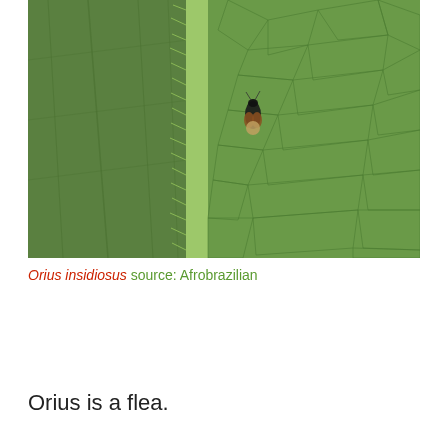[Figure (photo): Close-up macro photograph of a green leaf showing detailed vein texture and surface. A small insect (Orius insidiosus) is visible near the central vein of the leaf, which has fine hairs along it.]
Orius insidiosus source: Afrobrazilian
Orius is a flea.